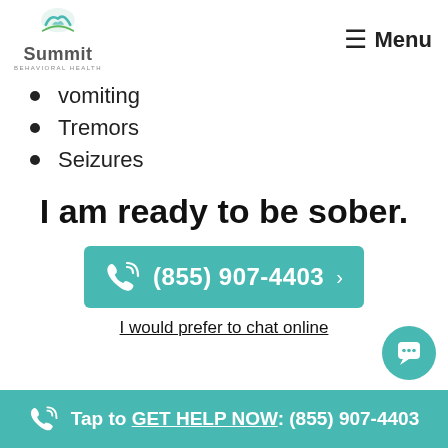Summit Behavioral Health — Menu
vomiting
Tremors
Seizures
I am ready to be sober.
(855) 907-4403
I would prefer to chat online
Tap to GET HELP NOW: (855) 907-4403